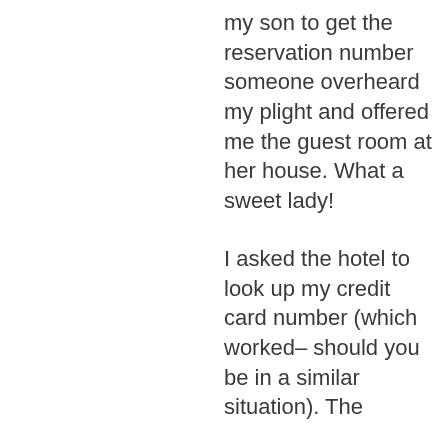my son to get the reservation number someone overheard my plight and offered me the guest room at her house. What a sweet lady!
I asked the hotel to look up my credit card number (which worked– should you be in a similar situation). The